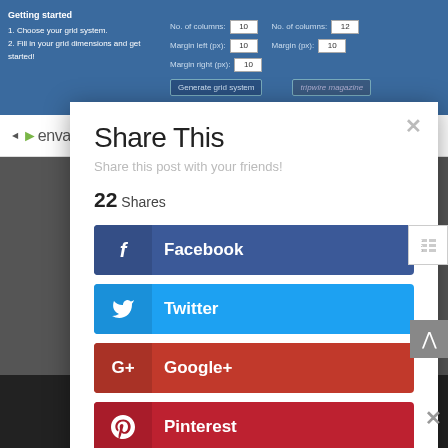[Figure (screenshot): Top blue banner showing a grid system generator tool with fields for columns, margin left/right, and generate button. Tripwire magazine watermark visible.]
[Figure (screenshot): Envato Elements logo bar partially visible behind modal dialog.]
Share This
Share this post with your friends!
22 Shares
Facebook
Twitter
Google+
Pinterest